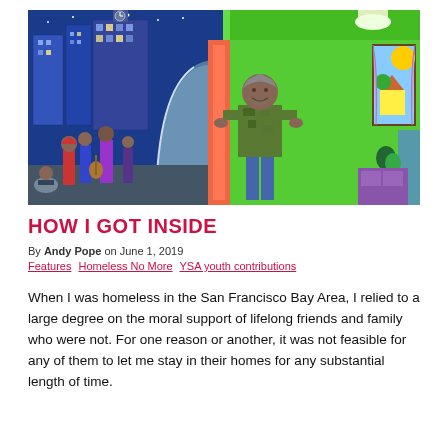[Figure (illustration): Colorful hand-drawn illustration showing a man standing in a doorway, one side showing a nighttime city street scene with people who appear homeless, the other side showing a cozy indoor home environment with a window showing a house and trees.]
HOW I GOT INSIDE
By Andy Pope on June 1, 2019
Features   Homeless No More   YSA youth contributions
When I was homeless in the San Francisco Bay Area, I relied to a large degree on the moral support of lifelong friends and family who were not. For one reason or another, it was not feasible for any of them to let me stay in their homes for any substantial length of time.